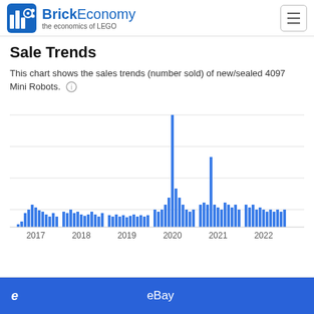BrickEconomy — the economics of LEGO
Sale Trends
This chart shows the sales trends (number sold) of new/sealed 4097 Mini Robots.
[Figure (bar-chart): Bar chart showing monthly sales trends for LEGO set 4097 Mini Robots from 2017 to 2022. Notable spike in mid-2020 with the tallest bar. Generally low sales across all months.]
eBay